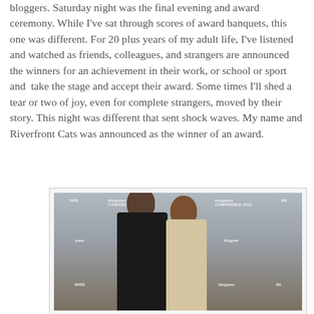bloggers. Saturday night was the final evening and award ceremony. While I've sat through scores of award banquets, this one was different. For 20 plus years of my adult life, I've listened and watched as friends, colleagues, and strangers are announced the winners for an achievement in their work, or school or sport and  take the stage and accept their award. Some times I'll shed a tear or two of joy, even for complete strangers, moved by their story. This night was different that sent shock waves. My name and Riverfront Cats was announced as the winner of an award.
[Figure (photo): Two people posing for a photo in front of a step-and-repeat banner featuring MARS and blogpaws CONFERENCE 2015 logos. The man on the left wears a black hat and dark jacket; the woman on the right wears a light-colored dress and holds an award trophy.]